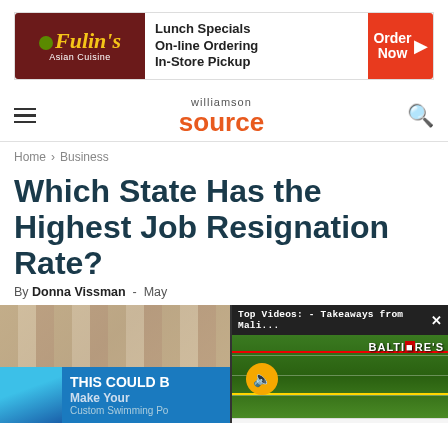[Figure (other): Fulin's Asian Cuisine advertisement banner with lunch specials, online ordering, in-store pickup, and Order Now button]
williamson source
Home › Business
Which State Has the Highest Job Resignation Rate?
By Donna Vissman - May
[Figure (screenshot): Partial article image with overlay ads and a floating video player showing 'Top Videos: - Takeaways from Mali...' with a football game and NFL Holding Court label at bottom]